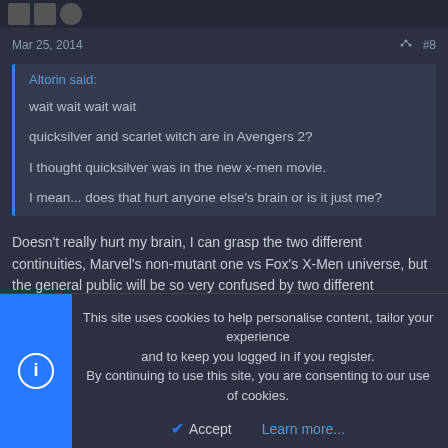Mar 25, 2014  #8
Altorin said:

wait wait wait wait

quicksilver and scarlet witch are in Avengers 2?

I thought quicksilver was in the new x-men movie.

I mean... does that hurt anyone else's brain or is it just me?
Doesn't really hurt my brain, I can grasp the two different continuities, Marvel's non-mutant one vs Fox's X-Men universe, but the general public will be so very confused by two different Quicksilvers.
This site uses cookies to help personalise content, tailor your experience and to keep you logged in if you register.
By continuing to use this site, you are consenting to our use of cookies.

Accept   Learn more...